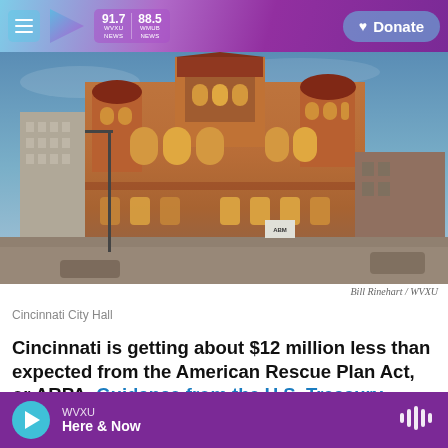WVXU 91.7 NEWS | WMUB 88.5 NEWS | Donate
[Figure (photo): Exterior photo of Cincinnati City Hall, a large Victorian Romanesque brick building with arched windows and towers, photographed at dusk with warm light.]
Bill Rinehart / WVXU
Cincinnati City Hall
Cincinnati is getting about $12 million less than expected from the American Rescue Plan Act, or ARPA. Guidance from the U.S. Treasury released
WVXU Here & Now